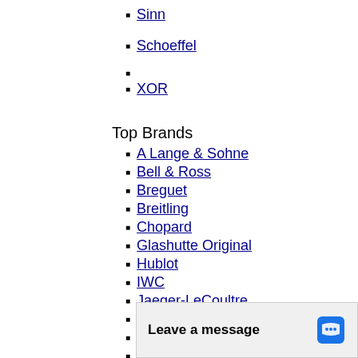Sinn
Schoeffel
XOR
Top Brands
A Lange & Sohne
Bell & Ross
Breguet
Breitling
Chopard
Glashutte Original
Hublot
IWC
Jaeger-LeCoultre
Maurice Lacroix
Montblanc
Omega
Panerai
Va...
Zo...
View Al...
Leave a message